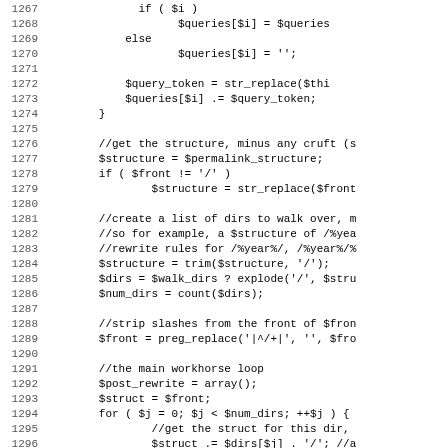Source code listing, lines 1267-1299, PHP code snippet showing permalink structure and rewrite rules logic.